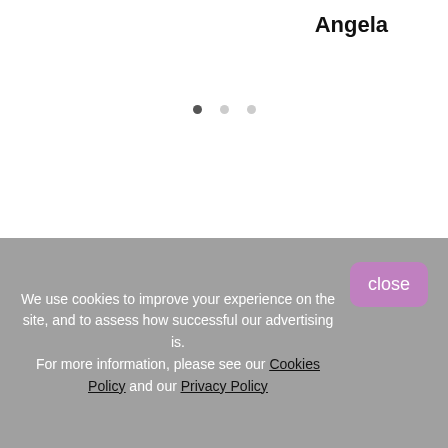Angela
[Figure (other): Three dot pagination indicator with one filled dark dot and two lighter dots]
[Figure (other): Purple button with text CHECK OUT OUR EVENT CALENDAR]
Types Of Event
We use cookies to improve your experience on the site, and to assess how successful our advertising is. For more information, please see our Cookies Policy and our Privacy Policy